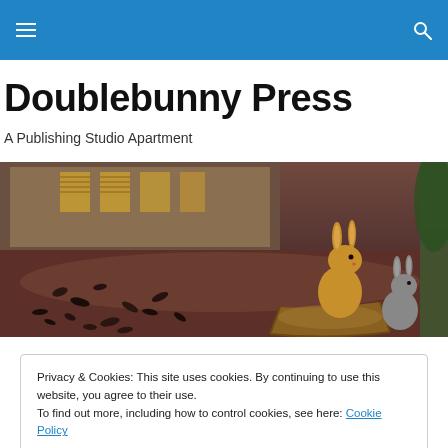Doublebunny Press — navigation bar with hamburger menu and search icon
Doublebunny Press
A Publishing Studio Apartment
[Figure (photo): Wide banner photo showing two rabbits — one large brown rabbit and one small grey rabbit — sitting in a wooden boat on a reflective indoor floor, with dried petals scattered nearby and a building facade in the background.]
Privacy & Cookies: This site uses cookies. By continuing to use this website, you agree to their use.
To find out more, including how to control cookies, see here: Cookie Policy

Close and accept